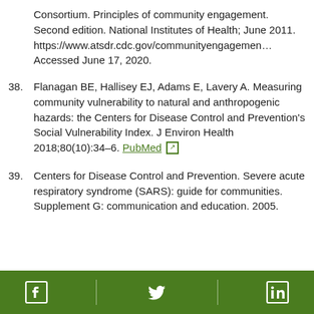Consortium. Principles of community engagement. Second edition. National Institutes of Health; June 2011. https://www.atsdr.cdc.gov/communityengagement Accessed June 17, 2020.
38. Flanagan BE, Hallisey EJ, Adams E, Lavery A. Measuring community vulnerability to natural and anthropogenic hazards: the Centers for Disease Control and Prevention's Social Vulnerability Index. J Environ Health 2018;80(10):34–6. PubMed [external link]
39. Centers for Disease Control and Prevention. Severe acute respiratory syndrome (SARS): guide for communities. Supplement G: communication and education. 2005.
Facebook | Twitter | LinkedIn